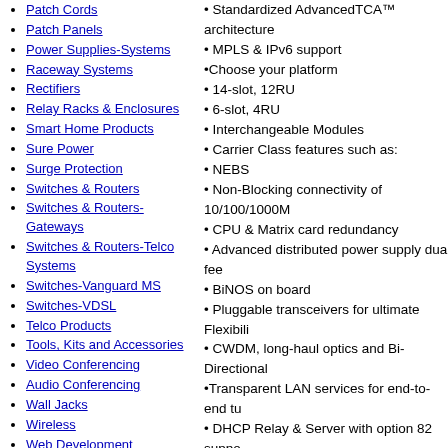Patch Cords
Patch Panels
Power Supplies-Systems
Raceway Systems
Rectifiers
Relay Racks & Enclosures
Smart Home Products
Sure Power
Surge Protection
Switches & Routers
Switches & Routers-Gateways
Switches & Routers-Telco Systems
Switches-Vanguard MS
Switches-VDSL
Telco Products
Tools, Kits and Accessories
Video Conferencing
Audio Conferencing
Wall Jacks
Wireless
Web Development
WDM
• Standardized AdvancedTCA™ architecture
• MPLS & IPv6 support
•Choose your platform
• 14-slot, 12RU
• 6-slot, 4RU
• Interchangeable Modules
• Carrier Class features such as:
• NEBS
• Non-Blocking connectivity of 10/100/1000M
• CPU & Matrix card redundancy
• Advanced distributed power supply dual fee
• BiNOS on board
• Pluggable transceivers for ultimate Flexibili
• CWDM, long-haul optics and Bi-Directional
•Transparent LAN services for end-to-end tu
• DHCP Relay & Server with option 82 suppo
•Access Control Lists for enhanced network s
•Out-of-Band management port
• Low power consumption
Standards
IEEE 802.3 CSMA/CD method and physical
IEEE 802.1d Spanning Tree Algorithm
IEEE 802.1p Priority Queuing
IEEE 802.1q VLAN tagging
IEEE 802.1w Rapid Spanning Tree
IEEE 802.1s Multiple Spanning Tree
IEEE 802.1x Authentication